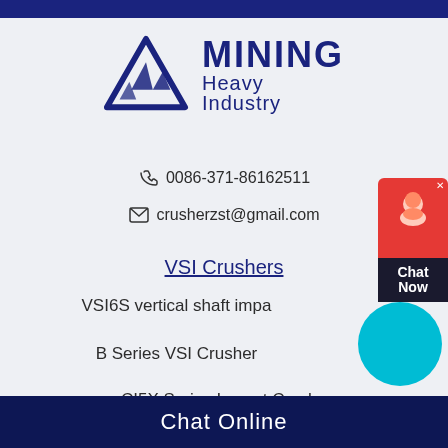[Figure (logo): Mining Heavy Industry logo with triangle/mountain icon and bold MINING text]
0086-371-86162511
crusherzst@gmail.com
VSI Crushers
VSI6S vertical shaft impa
B Series VSI Crusher
CI5X Series Impact Crushe
Stationary Crushers
Chat Online